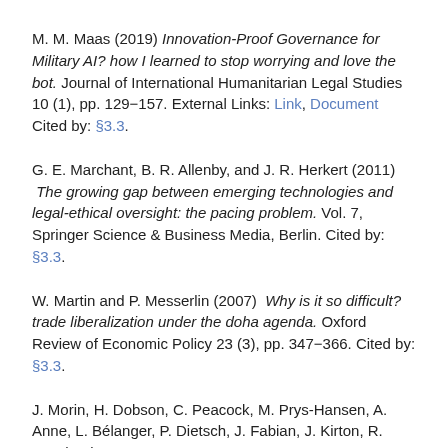M. M. Maas (2019) Innovation-Proof Governance for Military AI? how I learned to stop worrying and love the bot. Journal of International Humanitarian Legal Studies 10 (1), pp. 129–157. External Links: Link, Document Cited by: §3.3.
G. E. Marchant, B. R. Allenby, and J. R. Herkert (2011) The growing gap between emerging technologies and legal-ethical oversight: the pacing problem. Vol. 7, Springer Science & Business Media, Berlin. Cited by: §3.3.
W. Martin and P. Messerlin (2007) Why is it so difficult? trade liberalization under the doha agenda. Oxford Review of Economic Policy 23 (3), pp. 347–366. Cited by: §3.3.
J. Morin, H. Dobson, C. Peacock, M. Prys-Hansen, A. Anne, L. Bélanger, P. Dietsch, J. Fabian, J. Kirton, R. Marchetti, S.